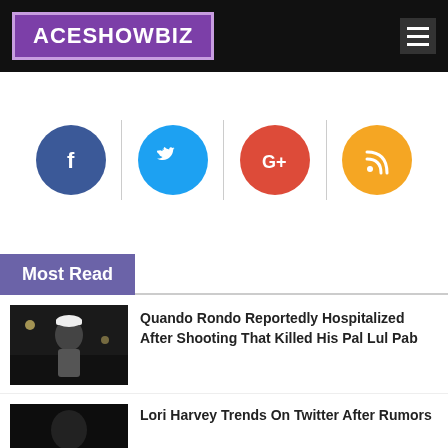ACESHOWBIZ
[Figure (infographic): Social media icons row: Facebook (dark blue circle with f), Twitter (light blue circle with bird), Google+ (red circle with G+), RSS (orange circle with wifi/rss icon), separated by vertical dividers]
Most Read
[Figure (photo): Photo of Quando Rondo, a young man wearing a white cap and white t-shirt, standing outside at night near cars]
Quando Rondo Reportedly Hospitalized After Shooting That Killed His Pal Lul Pab
[Figure (photo): Dark photo thumbnail for Lori Harvey article]
Lori Harvey Trends On Twitter After Rumors